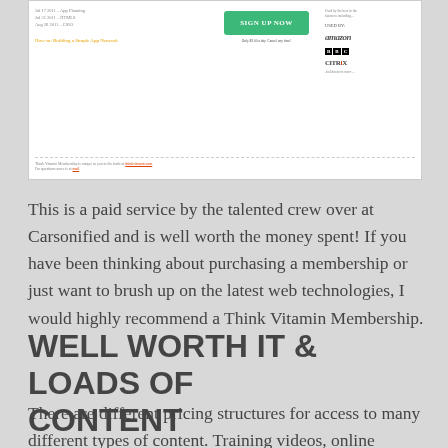[Figure (screenshot): Screenshot of a Think Vitamin Membership webpage showing a sign up now button, logos for Amazon, BBC, Citrix, and footer text about membership links.]
This is a paid service by the talented crew over at Carsonified and is well worth the money spent! If you have been thinking about purchasing a membership or just want to brush up on the latest web technologies, I would highly recommend a Think Vitamin Membership.
WELL WORTH IT & LOADS OF CONTENT
There are different pricing structures for access to many different types of content. Training videos, online conferences, and Q&A with top industry designers are just a few bits of content you will gain access to. Videos